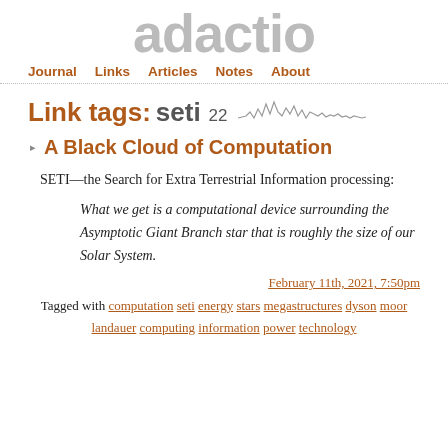adactio
Journal  Links  Articles  Notes  About
Link tags: seti  22
A Black Cloud of Computation
SETI—the Search for Extra Terrestrial Information processing:
What we get is a computational device surrounding the Asymptotic Giant Branch star that is roughly the size of our Solar System.
February 11th, 2021, 7:50pm
Tagged with computation seti energy stars megastructures dyson moor landauer computing information power technology